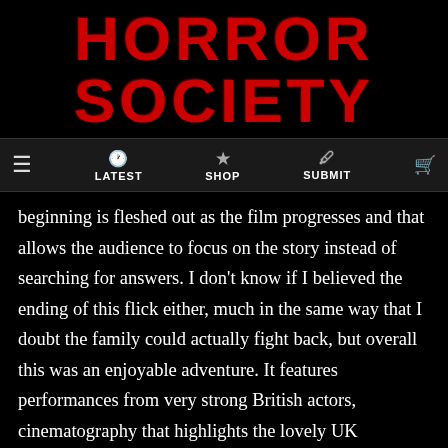HORROR SOCIETY
LATEST | SHOP | SUBMIT
beginning is fleshed out as the film progresses and that allows the audience to focus on the story instead of searching for answers. I don't know if I believed the ending of this flick either, much in the same way that I doubt the family could actually fight back, but overall this was an enjoyable adventure. It features performances from very strong British actors, cinematography that highlights the lovely UK countryside, buckets of gore and dismembered body parts, and yes – nods (just nods) to one of the greatest films in horror history. Hell, it's even got twinges of comedy, too. My only complaint is Charlie Steeds going a little overboard with the writing and stumbling over himself. Still, as